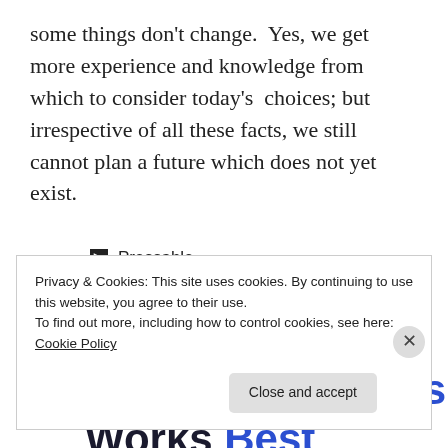some things don't change.  Yes, we get more experience and knowledge from which to consider today's  choices; but irrespective of all these facts, we still cannot plan a future which does not yet exist.
▶ Pressable
. . . . . . . . .
The Platform Where WordPress Works Best
Privacy & Cookies: This site uses cookies. By continuing to use this website, you agree to their use.
To find out more, including how to control cookies, see here: Cookie Policy
Close and accept